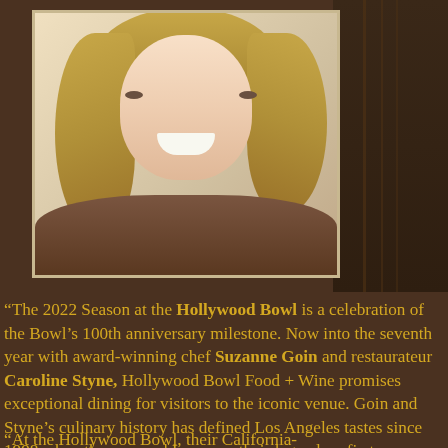[Figure (photo): Portrait photo of a smiling blonde woman framed with a light border on a dark brown background]
“The 2022 Season at the Hollywood Bowl is a celebration of the Bowl’s 100th anniversary milestone. Now into the seventh year with award-winning chef Suzanne Goin and restaurateur Caroline Styne, Hollywood Bowl Food + Wine promises exceptional dining for visitors to the iconic venue. Goin and Styne’s culinary history has defined Los Angeles tastes since 1998 when they opened Lucques, their legendary first restaurant.”
“At the Hollywood Bowl, their California-